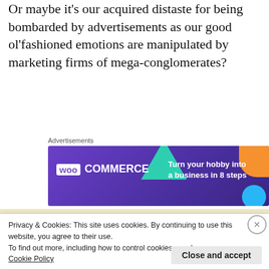romance film starring Meg Ryan.
Or maybe it's our acquired distaste for being bombarded by advertisements as our good ol'fashioned emotions are manipulated by marketing firms of mega-conglomerates?
Advertisements
[Figure (screenshot): WooCommerce advertisement banner: dark purple background with teal triangle, orange quarter-circle, and blue circle accents. Logo reads 'woo COMMERCE'. Tagline: 'Turn your hobby into a business in 8 steps']
[Figure (screenshot): Partially visible torn-edge decorative image at the bottom of the page content area]
Privacy & Cookies: This site uses cookies. By continuing to use this website, you agree to their use.
To find out more, including how to control cookies, see here:
Cookie Policy
Close and accept